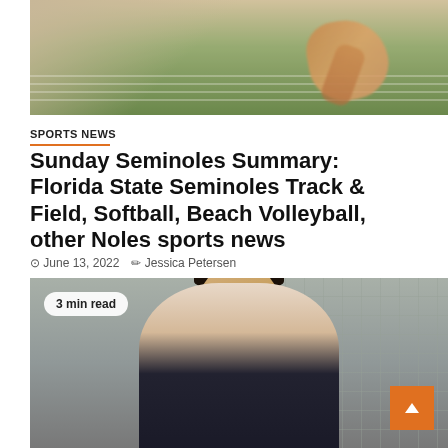[Figure (photo): Blurred action photo of a track and field athlete running on a green track]
SPORTS NEWS
Sunday Seminoles Summary: Florida State Seminoles Track & Field, Softball, Beach Volleyball, other Noles sports news
June 13, 2022   Jessica Petersen
[Figure (photo): Portrait photo of a young man with glasses wearing a dark vest, with a '3 min read' badge overlay and a grid background]